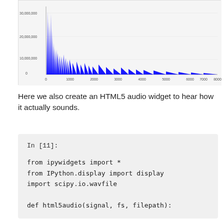[Figure (continuous-plot): A histogram/waveform plot showing frequency distribution with a large spike near 0 reaching ~30,000,000 and rapidly decaying tail stretching to ~8,000. X-axis ranges from 0 to 8000, y-axis from 0 to 30,000,000.]
Here we also create an HTML5 audio widget to hear how it actually sounds.
In [11]:

from ipywidgets import *
from IPython.display import display
import scipy.io.wavfile

def html5audio(signal, fs, filepath):